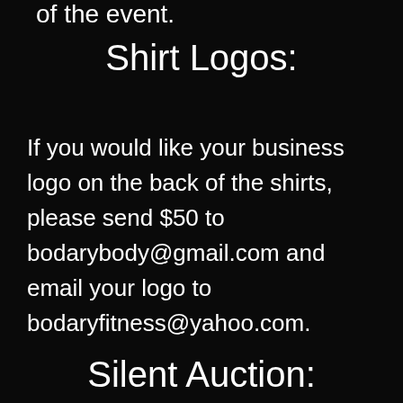of the event.
Shirt Logos:
If you would like your business logo on the back of the shirts, please send $50 to bodarybody@gmail.com and email your logo to bodaryfitness@yahoo.com.
Silent Auction: